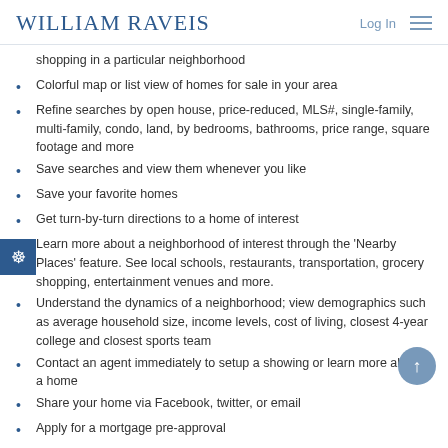WILLIAM RAVEIS | Log In
shopping in a particular neighborhood
Colorful map or list view of homes for sale in your area
Refine searches by open house, price-reduced, MLS#, single-family, multi-family, condo, land, by bedrooms, bathrooms, price range, square footage and more
Save searches and view them whenever you like
Save your favorite homes
Get turn-by-turn directions to a home of interest
Learn more about a neighborhood of interest through the 'Nearby Places' feature. See local schools, restaurants, transportation, grocery shopping, entertainment venues and more.
Understand the dynamics of a neighborhood; view demographics such as average household size, income levels, cost of living, closest 4-year college and closest sports team
Contact an agent immediately to setup a showing or learn more about a home
Share your home via Facebook, twitter, or email
Apply for a mortgage pre-approval